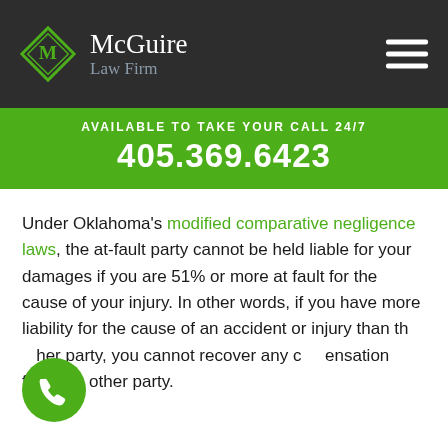McGuire Law Firm
AVAILABLE TO TAKE YOUR CALL 24/7
405.369.6423
Under Oklahoma's modified comparative negligence laws, the at-fault party cannot be held liable for your damages if you are 51% or more at fault for the cause of your injury. In other words, if you have more liability for the cause of an accident or injury than the other party, you cannot recover any compensation from the other party.